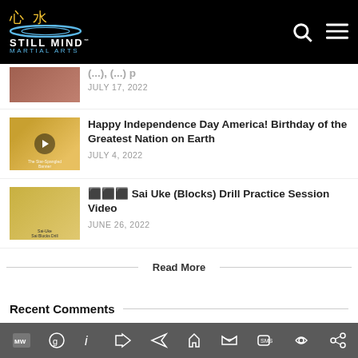心水 STILL MIND MARTIAL ARTS
JULY 17, 2022
Happy Independence Day America! Birthday of the Greatest Nation on Earth
JULY 4, 2022
🔴🔵🟣 Sai Uke (Blocks) Drill Practice Session Video
JUNE 26, 2022
Read More
Recent Comments
Renshi MikeS
on